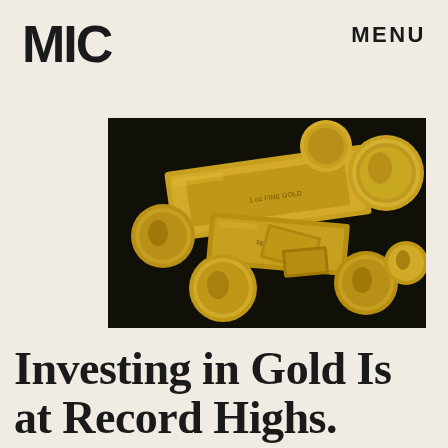MIC
MENU
[Figure (photo): Photo of gold coins, gold bars, and small gold ingots scattered on a dark background]
Investing in Gold Is at Record Highs. That's Not Necessarily Good.